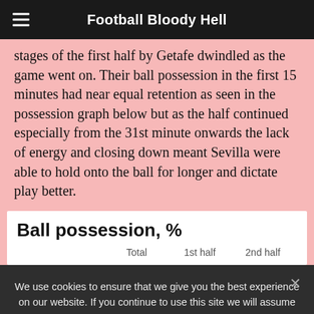Football Bloody Hell
stages of the first half by Getafe dwindled as the game went on. Their ball possession in the first 15 minutes had near equal retention as seen in the possession graph below but as the half continued especially from the 31st minute onwards the lack of energy and closing down meant Sevilla were able to hold onto the ball for longer and dictate play better.
Ball possession, %
|  | Total | 1st half | 2nd half |
| --- | --- | --- | --- |
We use cookies to ensure that we give you the best experience on our website. If you continue to use this site we will assume that you are happy with it.